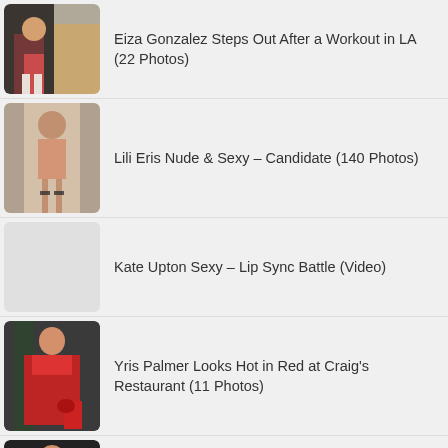Eiza Gonzalez Steps Out After a Workout in LA (22 Photos)
Lili Eris Nude & Sexy – Candidate (140 Photos)
Kate Upton Sexy – Lip Sync Battle (Video)
Yris Palmer Looks Hot in Red at Craig's Restaurant (11 Photos)
Kylie Jenner Showcases Her Svelte Figure in All-White (72 Photos)